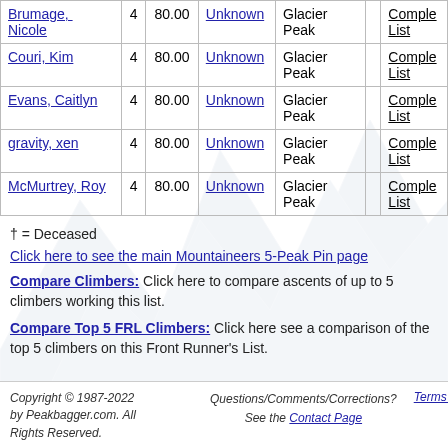| Name | Count | Score | Date | Peak | Extra | List |
| --- | --- | --- | --- | --- | --- | --- |
| Brumage, Nicole | 4 | 80.00 | Unknown | Glacier Peak |  | Complete List |
| Couri, Kim | 4 | 80.00 | Unknown | Glacier Peak |  | Complete List |
| Evans, Caitlyn | 4 | 80.00 | Unknown | Glacier Peak |  | Complete List |
| gravity, xen | 4 | 80.00 | Unknown | Glacier Peak |  | Complete List |
| McMurtrey, Roy | 4 | 80.00 | Unknown | Glacier Peak |  | Complete List |
† = Deceased
Click here to see the main Mountaineers 5-Peak Pin page
Compare Climbers: Click here to compare ascents of up to 5 climbers working this list.
Compare Top 5 FRL Climbers: Click here see a comparison of the top 5 climbers on this Front Runner's List.
Copyright © 1987-2022 by Peakbagger.com. All Rights Reserved.    Questions/Comments/Corrections? See the Contact Page    Terms of...